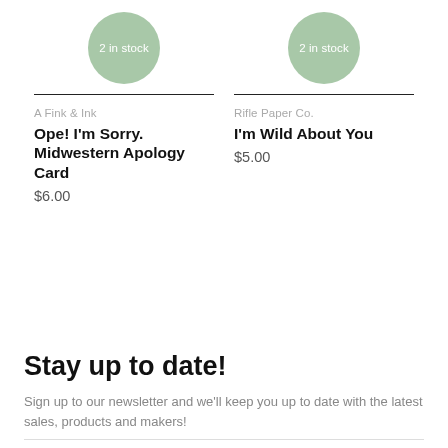[Figure (infographic): Green circular badge with text '2 in stock' for product 1]
[Figure (infographic): Green circular badge with text '2 in stock' for product 2]
A Fink & Ink
Ope! I'm Sorry. Midwestern Apology Card
$6.00
Rifle Paper Co.
I'm Wild About You
$5.00
Stay up to date!
Sign up to our newsletter and we'll keep you up to date with the latest sales, products and makers!